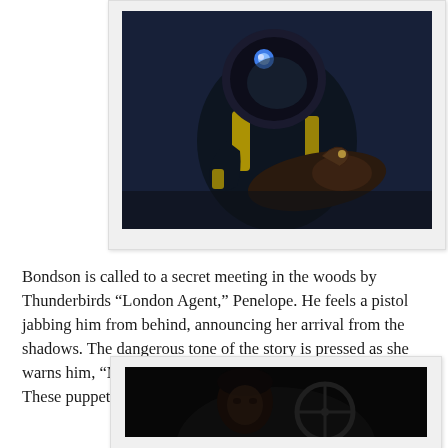[Figure (photo): Dark scene showing a figure in a space/diving suit with helmet and yellow markings, leaning over another figure in a shadowy setting.]
Bondson is called to a secret meeting in the woods by Thunderbirds “London Agent,” Penelope. He feels a pistol jabbing him from behind, announcing her arrival from the shadows. The dangerous tone of the story is pressed as she warns him, “Move a muscle and I’ll blow off your head.” These puppet spies are serious!
[Figure (photo): Dark scene showing a person (puppet) with dark hair at what appears to be a steering wheel or control panel, illuminated against a black background.]